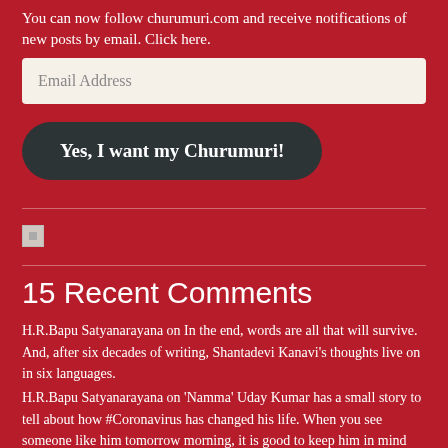You can now follow churumuri.com and receive notifications of new posts by email. Click here.
Email Address
Yes, I want my Churumuri!
[Figure (other): Broken image placeholder icon]
15 Recent Comments
H.R.Bapu Satyanarayana on In the end, words are all that will survive. And, after six decades of writing, Shantadevi Kanavi's thoughts live on in six languages.
H.R.Bapu Satyanarayana on 'Namma' Uday Kumar has a small story to tell about how #Coronavirus has changed his life. When you see someone like him tomorrow morning, it is good to keep him in mind